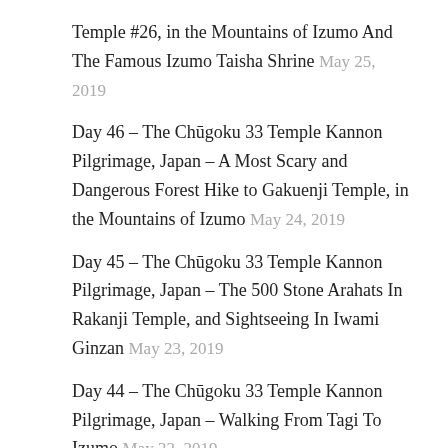Temple #26, in the Mountains of Izumo And The Famous Izumo Taisha Shrine May 25, 2019
Day 46 – The Chūgoku 33 Temple Kannon Pilgrimage, Japan – A Most Scary and Dangerous Forest Hike to Gakuenji Temple, in the Mountains of Izumo May 24, 2019
Day 45 – The Chūgoku 33 Temple Kannon Pilgrimage, Japan – The 500 Stone Arahats In Rakanji Temple, and Sightseeing In Iwami Ginzan May 23, 2019
Day 44 – The Chūgoku 33 Temple Kannon Pilgrimage, Japan – Walking From Tagi To Izumo May 22, 2019
Day 43 – The Chūgoku 33 Temple Kannon Pilgrimage, Japan – Seeing an Amazing Performance of Iwami Kagura in Yunotsu Onsen, and Visiting Kandoji Temple